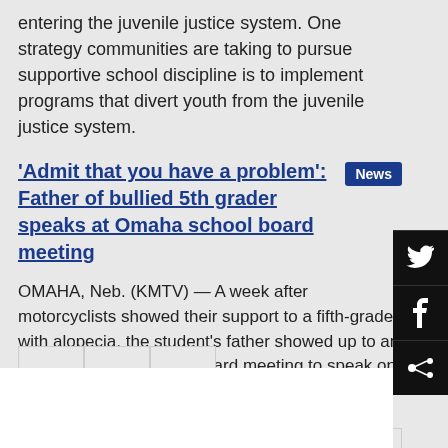entering the juvenile justice system. One strategy communities are taking to pursue supportive school discipline is to implement programs that divert youth from the juvenile justice system.
'Admit that you have a problem': Father of bullied 5th grader speaks at Omaha school board meeting
OMAHA, Neb. (KMTV) — A week after motorcyclists showed their support to a fifth-grader with alopecia, the student's father showed up to an Omaha Public Schools board meeting to speak on bullying.
Pagination: 1 2 3 4 5 6 7 8 9 ... »